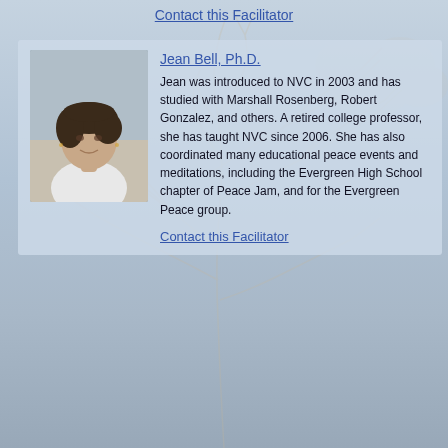Contact this Facilitator
[Figure (photo): Portrait photo of Jean Bell, Ph.D., a woman with short dark hair]
Jean Bell, Ph.D.
Jean was introduced to NVC in 2003 and has studied with Marshall Rosenberg, Robert Gonzalez, and others. A retired college professor, she has taught NVC since 2006. She has also coordinated many educational peace events and meditations, including the Evergreen High School chapter of Peace Jam, and for the Evergreen Peace group.
Contact this Facilitator
[Figure (photo): Portrait photo of Kate Kendrick, M.A., a woman with dark hair]
Kate Kendrick, M.A.
Kate is a trainer, psychotherapist in private